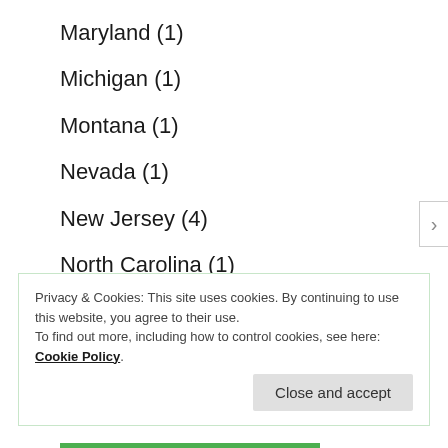Maryland (1)
Michigan (1)
Montana (1)
Nevada (1)
New Jersey (4)
North Carolina (1)
Pennsylvania (5)
South Carolina (1)
Privacy & Cookies: This site uses cookies. By continuing to use this website, you agree to their use.
To find out more, including how to control cookies, see here: Cookie Policy.
Close and accept